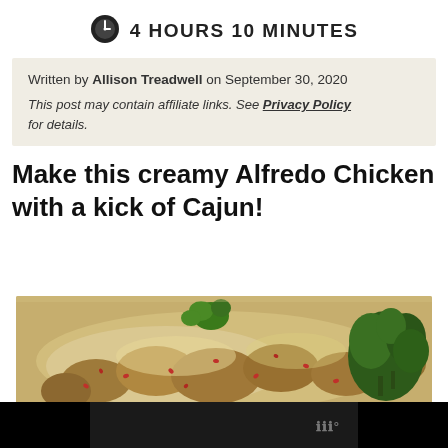4 HOURS 10 MINUTES
Written by Allison Treadwell on September 30, 2020

This post may contain affiliate links. See Privacy Policy for details.
Make this creamy Alfredo Chicken with a kick of Cajun!
[Figure (photo): Photo of creamy Cajun Alfredo Chicken dish with broccoli, parsley garnish, and red pepper flakes on a white plate]